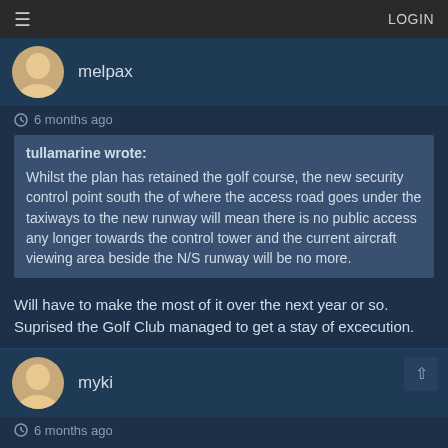LOGIN
melpax
6 months ago
tullamarine wrote: Whilst the plan has retained the golf course, the new security control point south the of where the access road goes under the taxiways to the new runway will mean there is no public access any longer towards the control tower and the current aircraft viewing area beside the N/S runway will be no more.
Will have to make the most of it over the next year or so. Suprised the Golf Club managed to get a stay of excecution.
myki
6 months ago
With Melbourne's fickle weather, could they not extend the station roof 20metres and connect it to the terminal? I could probably guess that